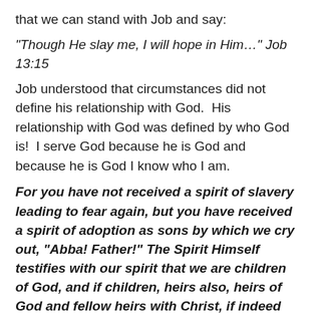that we can stand with Job and say:
“Though He slay me, I will hope in Him…” Job 13:15
Job understood that circumstances did not define his relationship with God.  His relationship with God was defined by who God is!  I serve God because he is God and because he is God I know who I am.
For you have not received a spirit of slavery leading to fear again, but you have received a spirit of adoption as sons by which we cry out, “Abba! Father!” The Spirit Himself testifies with our spirit that we are children of God, and if children, heirs also, heirs of God and fellow heirs with Christ, if indeed we suffer with Him so that we may also be glorified with Him. Romans 8:15-17